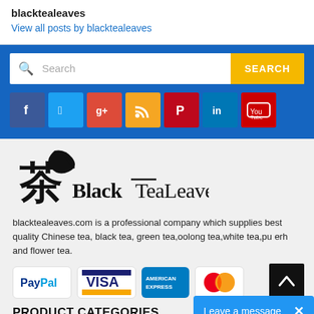blacktealeaves
View all posts by blacktealeaves
[Figure (screenshot): Search bar with yellow SEARCH button on blue background]
[Figure (infographic): Social media icons row: Facebook, Twitter, Google+, RSS, Pinterest, LinkedIn, YouTube]
[Figure (logo): BlackTeaLeaves logo with Chinese character and stylized text]
blacktealeaves.com is a professional company which supplies best quality Chinese tea, black tea, green tea,oolong tea,white tea,pu erh and flower tea.
[Figure (infographic): Payment method badges: PayPal, VISA, American Express, MasterCard]
PRODUCT CATEGORIES
Leave a message